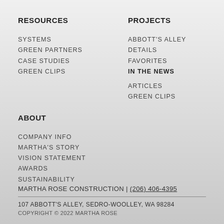RESOURCES
SYSTEMS
GREEN PARTNERS
CASE STUDIES
GREEN CLIPS
PROJECTS
ABBOTT'S ALLEY
DETAILS
FAVORITES
IN THE NEWS
ARTICLES
GREEN CLIPS
ABOUT
COMPANY INFO
MARTHA'S STORY
VISION STATEMENT
AWARDS
SUSTAINABILITY
MARTHA ROSE CONSTRUCTION | (206) 406-4395
107 ABBOTT'S ALLEY, SEDRO-WOOLLEY, WA 98284
COPYRIGHT © 2022 MARTHA ROSE